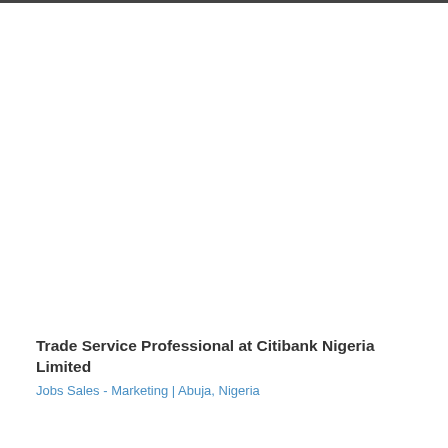Trade Service Professional at Citibank Nigeria Limited
Jobs Sales - Marketing | Abuja, Nigeria